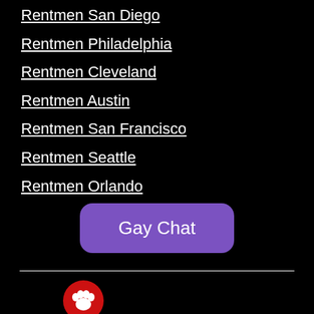Rentmen San Diego
Rentmen Philadelphia
Rentmen Cleveland
Rentmen Austin
Rentmen San Francisco
Rentmen Seattle
Rentmen Orlando
[Figure (other): Purple rounded rectangle button labeled 'Gay Chat']
[Figure (logo): Red circular logo with white paw print icon]